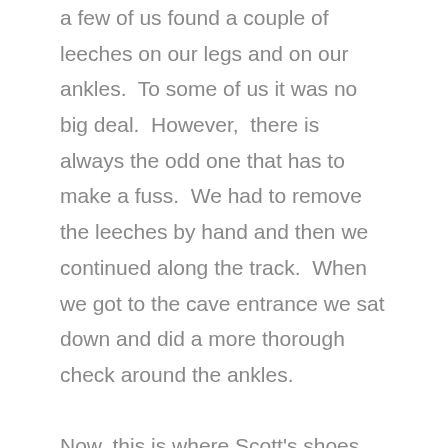a few of us found a couple of leeches on our legs and on our ankles.  To some of us it was no big deal.  However,  there is always the odd one that has to make a fuss.  We had to remove the leeches by hand and then we continued along the track.  When we got to the cave entrance we sat down and did a more thorough check around the ankles.

Now, this is where Scott's shoes finally gave up on him.  The shoes that he had borrowed from our hostel decided to come apart at the bottom.  By the time we had got to the cave entrance both soles had dropped off.  This was quite amusing at the time  but in